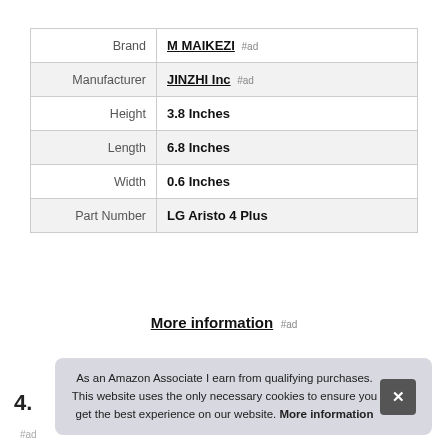| Attribute | Value |
| --- | --- |
| Brand | M MAIKEZI #ad |
| Manufacturer | JINZHI Inc #ad |
| Height | 3.8 Inches |
| Length | 6.8 Inches |
| Width | 0.6 Inches |
| Part Number | LG Aristo 4 Plus |
More information #ad
4.
As an Amazon Associate I earn from qualifying purchases. This website uses the only necessary cookies to ensure you get the best experience on our website. More information
#ad